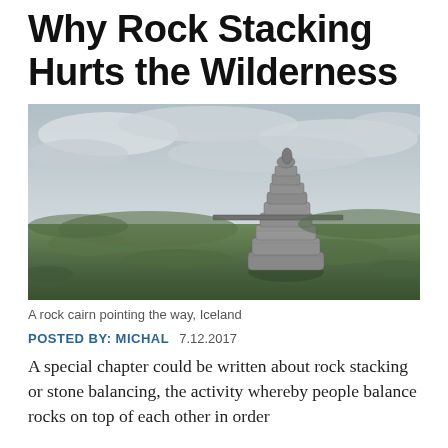Why Rock Stacking Hurts the Wilderness
[Figure (photo): A large rock cairn (stacked rocks) in an open moorland landscape with green grass and an overcast sky, Iceland.]
A rock cairn pointing the way, Iceland
POSTED BY: MICHAL   7.12.2017
A special chapter could be written about rock stacking or stone balancing, the activity whereby people balance rocks on top of each other in order to make a landmark or formation. The